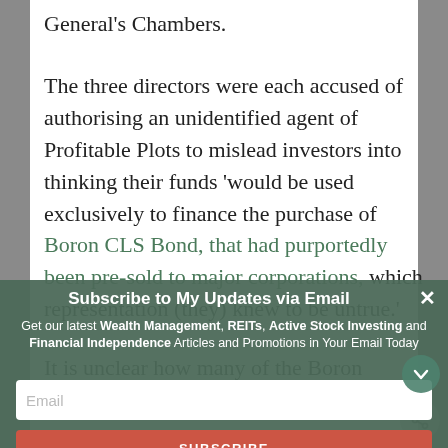General's Chambers.
The three directors were each accused of authorising an unidentified agent of Profitable Plots to mislead investors into thinking their funds 'would be used exclusively to finance the purchase of Boron CLS Bond, that had purportedly been pre-sold to major corporations, which representation (they) knew to be untrue.'
It is unclear how many of the Boron investors are from Singapore. So far, no
Subscribe to My Updates via Email
Get our latest Wealth Management, REITs, Active Stock Investing and Financial Independence Articles and Promotions in Your Email Today